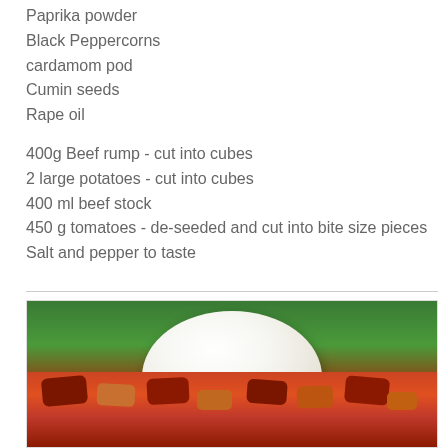Paprika powder
Black Peppercorns
cardamom pod
Cumin seeds
Rape oil
400g Beef rump - cut into cubes
2 large potatoes - cut into cubes
400 ml beef stock
450 g tomatoes - de-seeded and cut into bite size pieces
Salt and pepper to taste
[Figure (photo): A plate of beef and potato stew in tomato sauce served alongside a mound of white rice, photographed close-up against a green background.]